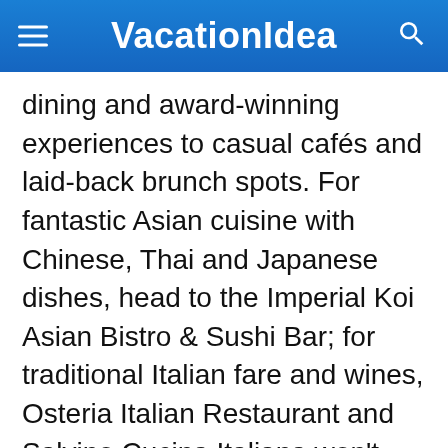VacationIdea
dining and award-winning experiences to casual cafés and laid-back brunch spots. For fantastic Asian cuisine with Chinese, Thai and Japanese dishes, head to the Imperial Koi Asian Bistro & Sushi Bar; for traditional Italian fare and wines, Osteria Italian Restaurant and Salvino Cucina Italiana won't disappoint; and Leblon Churrascaria serves traditional Brazilian rodizio-style meats served by Brazilian meat carvers known as gauchos. We recommend that you call the attractions and restaurants ahead of your